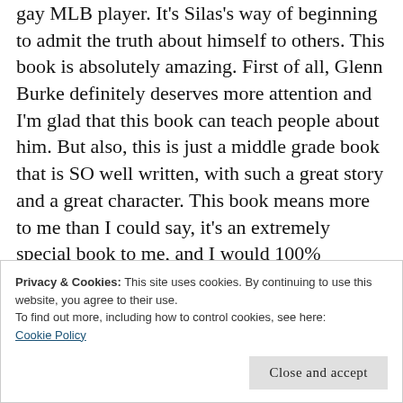gay MLB player. It's Silas's way of beginning to admit the truth about himself to others. This book is absolutely amazing. First of all, Glenn Burke definitely deserves more attention and I'm glad that this book can teach people about him. But also, this is just a middle grade book that is SO well written, with such a great story and a great character. This book means more to me than I could say, it's an extremely special book to me, and I would 100% recommend it to anyone looking for a book about sports.
Privacy & Cookies: This site uses cookies. By continuing to use this website, you agree to their use.
To find out more, including how to control cookies, see here:
Cookie Policy
Close and accept